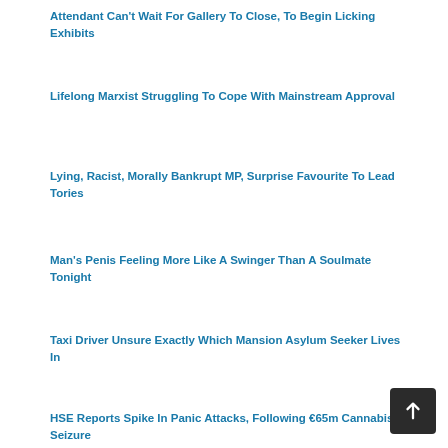Attendant Can't Wait For Gallery To Close, To Begin Licking Exhibits
Lifelong Marxist Struggling To Cope With Mainstream Approval
Lying, Racist, Morally Bankrupt MP, Surprise Favourite To Lead Tories
Man's Penis Feeling More Like A Swinger Than A Soulmate Tonight
Taxi Driver Unsure Exactly Which Mansion Asylum Seeker Lives In
HSE Reports Spike In Panic Attacks, Following €65m Cannabis Seizure